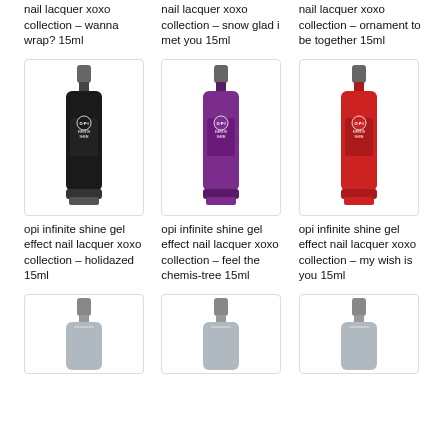opi infinite shine gel effect nail lacquer xoxo collection – wanna wrap? 15ml
opi infinite shine gel effect nail lacquer xoxo collection – snow glad i met you 15ml
opi infinite shine gel effect nail lacquer xoxo collection – ornament to be together 15ml
[Figure (photo): Black OPI Infinite Shine nail lacquer bottle]
[Figure (photo): Purple OPI Infinite Shine nail lacquer bottle]
[Figure (photo): Red OPI Infinite Shine nail lacquer bottle]
opi infinite shine gel effect nail lacquer xoxo collection – holidazed 15ml
opi infinite shine gel effect nail lacquer xoxo collection – feel the chemis-tree 15ml
opi infinite shine gel effect nail lacquer xoxo collection – my wish is you 15ml
[Figure (photo): Silver/dark OPI Infinite Shine nail lacquer bottle (partial)]
[Figure (photo): Silver OPI Infinite Shine nail lacquer bottle (partial)]
[Figure (photo): Silver OPI Infinite Shine nail lacquer bottle (partial)]